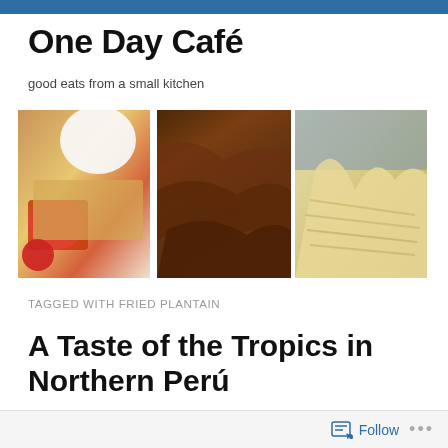One Day Café
good eats from a small kitchen
[Figure (photo): Three food photos side by side: a dessert with strawberry and cream, a chocolate frosted cake, and sliced plantains or fruit]
TAGGED WITH FRIED PLANTAIN
A Taste of the Tropics in Northern Perú
Follow